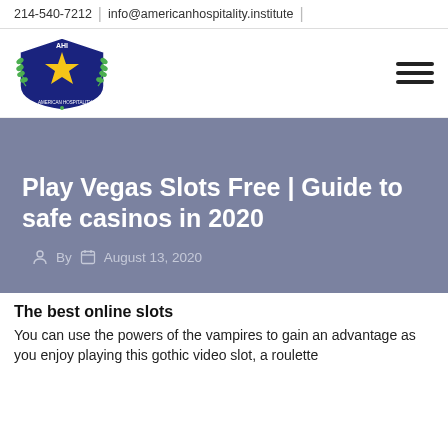214-540-7212 | info@americanhospitality.institute
[Figure (logo): AHI American Hospitality Institute shield logo with gold star and laurel wreath]
Play Vegas Slots Free | Guide to safe casinos in 2020
By August 13, 2020
The best online slots
You can use the powers of the vampires to gain an advantage as you enjoy playing this gothic video slot, a roulette